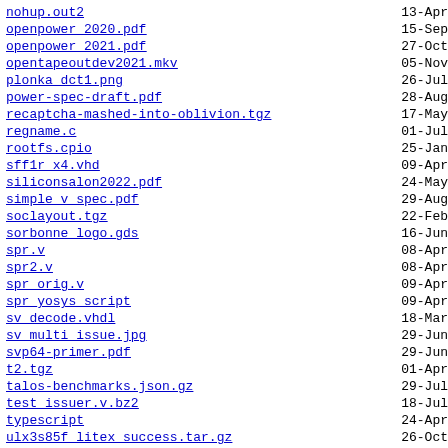nohup.out2  13-Apr
openpower_2020.pdf  15-Sep
openpower_2021.pdf  27-Oct
opentapeoutdev2021.mkv  05-Nov
plonka_dct1.png  26-Jul
power-spec-draft.pdf  28-Aug
recaptcha-mashed-into-oblivion.tgz  17-May
regname.c  01-Jul
rootfs.cpio  25-Jan
sff1r_x4.vhd  09-Apr
siliconsalon2022.pdf  24-May
simple_v_spec.pdf  29-Aug
soclayout.tgz  22-Feb
sorbonne_logo.gds  16-Jun
spr.v  08-Apr
spr2.v  08-Apr
spr_orig.v  09-Apr
spr_yosys_script  09-Apr
sv_decode.vhdl  18-Mar
sv_multi_issue.jpg  29-Jun
svp64-primer.pdf  29-Jun
t2.tgz  01-Apr
talos-benchmarks.json.gz  29-Jul
test_issuer.v.bz2  18-Jul
typescript  24-Apr
ulx3s85f_litex_success.tar.gz  26-Oct
ulx3s85f_litex_success_12_5mhz.tar.gz  30-Oct
ulx3s85f_litex_success_25mhz.tar.gz  30-Oct
wolves2021.pdf  18-Oct
wot.pdf  06-Aug